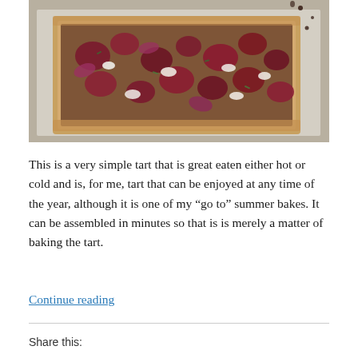[Figure (photo): Overhead photo of a rectangular flatbread or tart topped with roasted beets, red onions, crumbled white cheese, and fresh herbs on parchment paper with balsamic drizzle.]
This is a very simple tart that is great eaten either hot or cold and is, for me, tart that can be enjoyed at any time of the year, although it is one of my “go to” summer bakes. It can be assembled in minutes so that is is merely a matter of baking the tart.
Continue reading
Share this: